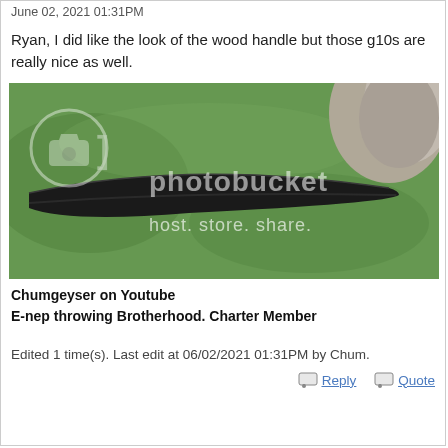June 02, 2021 01:31PM
Ryan, I did like the look of the wood handle but those g10s are really nice as well.
[Figure (photo): Photo of a dark black knife blade lying on green grass, with a Photobucket watermark overlay showing the Photobucket logo and text 'photobucket' and 'host. store. share.']
Chumgeyser on Youtube
E-nep throwing Brotherhood. Charter Member
Edited 1 time(s). Last edit at 06/02/2021 01:31PM by Chum.